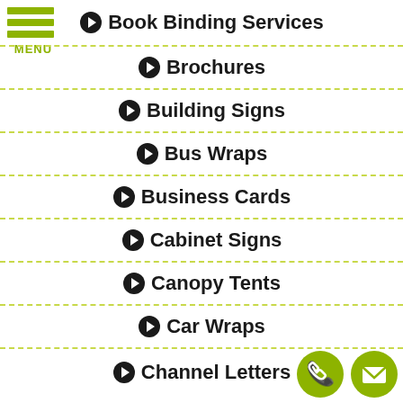[Figure (other): Green hamburger menu icon with three horizontal bars and MENU label]
Book Binding Services
Brochures
Building Signs
Bus Wraps
Business Cards
Cabinet Signs
Canopy Tents
Car Wraps
Channel Letters
[Figure (other): Green circle phone icon and green circle envelope/mail icon at bottom right]